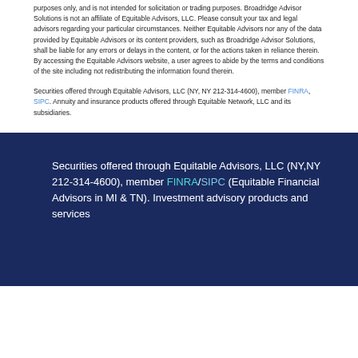purposes only, and is not intended for solicitation or trading purposes. Broadridge Advisor Solutions is not an affiliate of Equitable Advisors, LLC. Please consult your tax and legal advisors regarding your particular circumstances. Neither Equitable Advisors nor any of the data provided by Equitable Advisors or its content providers, such as Broadridge Advisor Solutions, shall be liable for any errors or delays in the content, or for the actions taken in reliance therein. By accessing the Equitable Advisors website, a user agrees to abide by the terms and conditions of the site including not redistributing the information found therein.
Securities offered through Equitable Advisors, LLC (NY, NY 212-314-4600), member FINRA, SIPC. Annuity and insurance products offered through Equitable Network, LLC and its subsidiaries.
Securities offered through Equitable Advisors, LLC (NY,NY 212-314-4600), member FINRA/SIPC (Equitable Financial Advisors in MI & TN). Investment advisory products and services